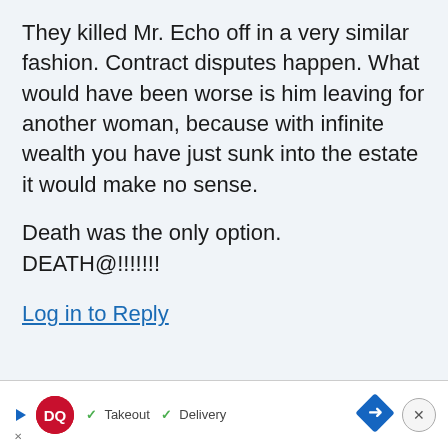They killed Mr. Echo off in a very similar fashion. Contract disputes happen. What would have been worse is him leaving for another woman, because with infinite wealth you have just sunk into the estate it would make no sense.
Death was the only option. DEATH@!!!!!!!
Log in to Reply
[Figure (other): Dairy Queen advertisement banner with DQ logo, checkmarks for Takeout and Delivery, navigation arrow diamond icon, and close button]